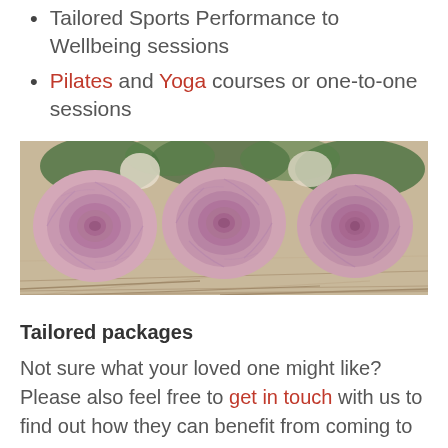Tailored Sports Performance to Wellbeing sessions
Pilates and Yoga courses or one-to-one sessions
[Figure (photo): Three pink roses resting on dried grass/hay, photographed from above. The roses are large, fully bloomed, and arranged side by side.]
Tailored packages
Not sure what your loved one might like? Please also feel free to get in touch with us to find out how they can benefit from coming to